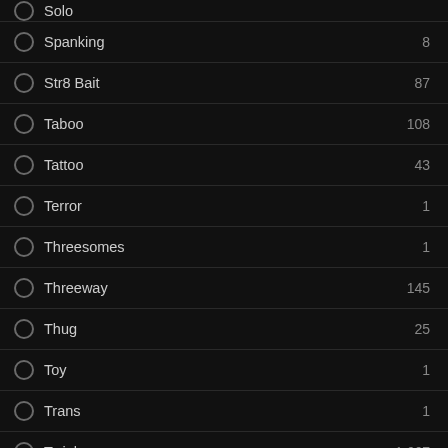Solo
Spanking 8
Str8 Bait 87
Taboo 108
Tattoo 43
Terror 1
Threesomes 1
Threeway 145
Thug 25
Toy 1
Trans 1
Twink 1,667